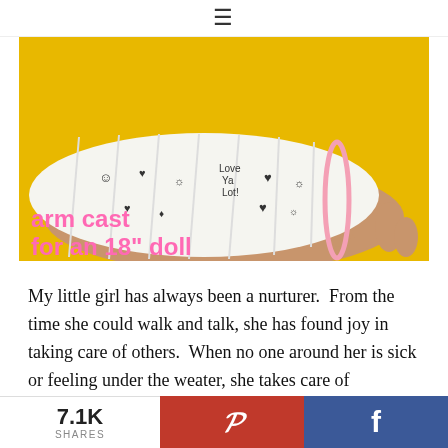≡
[Figure (photo): Close-up photo of a child's hand/arm wrapped in a white fabric cast with drawn hearts and messages on a yellow background. Pink text overlay reads: arm cast for an 18" doll]
My little girl has always been a nurturer.  From the time she could walk and talk, she has found joy in taking care of others.  When no one around her is sick or feeling under the weater, she takes care of
7.1K SHARES  [Pinterest share button]  [Facebook share button]